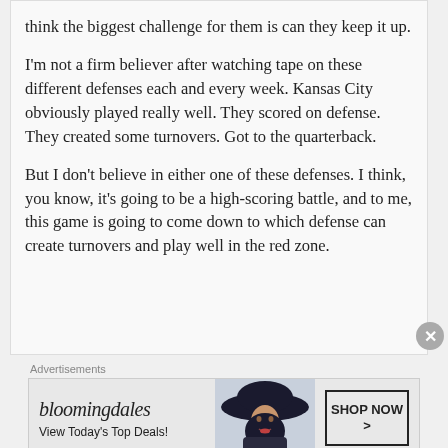think the biggest challenge for them is can they keep it up.
I'm not a firm believer after watching tape on these different defenses each and every week. Kansas City obviously played really well. They scored on defense. They created some turnovers. Got to the quarterback.
But I don't believe in either one of these defenses. I think, you know, it's going to be a high-scoring battle, and to me, this game is going to come down to which defense can create turnovers and play well in the red zone.
[Figure (infographic): Bloomingdale's advertisement banner with logo, 'View Today's Top Deals!' tagline, woman with dark floppy hat, and 'SHOP NOW >' button]